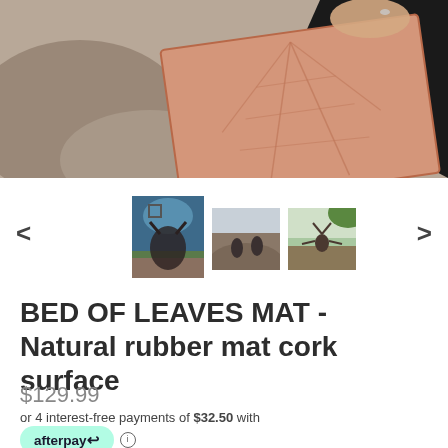[Figure (photo): Main product photo showing a cork yoga mat with leaf pattern laid on rocky surface outdoors, partially held by a person wearing rings]
[Figure (photo): Thumbnail image carousel with navigation arrows and dot indicator. Three thumbnail photos showing the yoga mat in use outdoors near water and rocks.]
BED OF LEAVES MAT - Natural rubber mat cork surface
$129.99
or 4 interest-free payments of $32.50 with
[Figure (logo): Afterpay logo button in mint green with afterpay arrow icon and info circle]